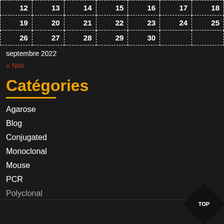| 12 | 13 | 14 | 15 | 16 | 17 | 18 |
| 19 | 20 | 21 | 22 | 23 | 24 | 25 |
| 26 | 27 | 28 | 29 | 30 |  |  |
septembre 2022
« Nov
Catégories
Agarose
Blog
Conjugated
Monoclonal
Mouse
PCR